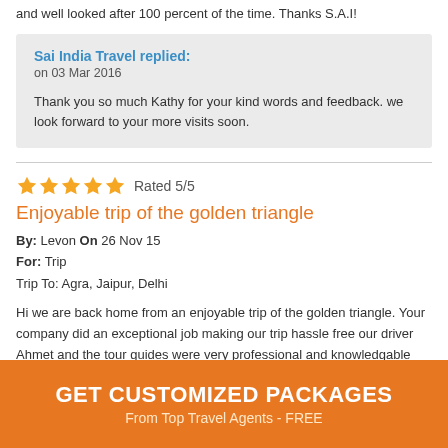and well looked after 100 percent of the time. Thanks S.A.I!
Sai India Travel replied:
on 03 Mar 2016

Thank you so much Kathy for your kind words and feedback. we look forward to your more visits soon.
Rated 5/5
Enjoyable trip of the golden triangle
By: Levon On 26 Nov 15
For: Trip
Trip To: Agra, Jaipur, Delhi

Hi we are back home from an enjoyable trip of the golden triangle. Your company did an exceptional job making our trip hassle free our driver Ahmet and the tour guides were very professional and knowledgable Thank you and your staff on my behalf and my friends on the trip. Levon
GET CUSTOMIZED PACKAGES
From Top Travel Agents - FREE